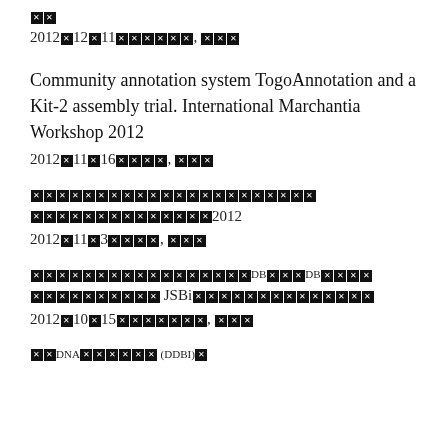[Japanese characters]
2012[x]12[x]11[x][x][x][x][x][x], [x][x][x]
Community annotation system TogoAnnotation and a Kit-2 assembly trial. International Marchantia Workshop 2012
2012[x]11[x]16[x][x][x][x][x], [x][x][x]
[Japanese characters - long line]
[x][x][x][x][x][x][x][x][x][x][x][x][x][x]2012
2012[x]11[x]3[x][x][x][x][x], [x][x][x]
[Japanese characters - DB related]
[x][x][x][x][x][x][x][x][x][x] JSBi[Japanese characters]
2012[x]10[x]15[x][x][x][x][x][x][x], [x][x][x]
[Japanese characters - DNA/DDBI related]